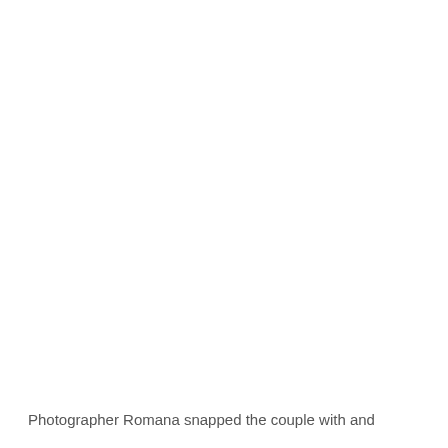[Figure (photo): Large white/blank image area occupying most of the page]
Photographer Romana snapped the couple with and